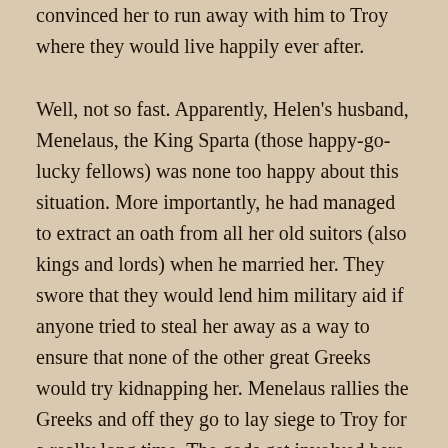convinced her to run away with him to Troy where they would live happily ever after.
Well, not so fast. Apparently, Helen's husband, Menelaus, the King Sparta (those happy-go-lucky fellows) was none too happy about this situation. More importantly, he had managed to extract an oath from all her old suitors (also kings and lords) when he married her. They swore that they would lend him military aid if anyone tried to steal her away as a way to ensure that none of the other great Greeks would try kidnapping her. Menelaus rallies the Greeks and off they go to lay siege to Troy for a really long time. The gods get involved here and there, and ultimately Troy falls due to the trickery of Odysseus more than the rage of Achilles. The Greeks go too far, of course, and sack the temples and are visited with many